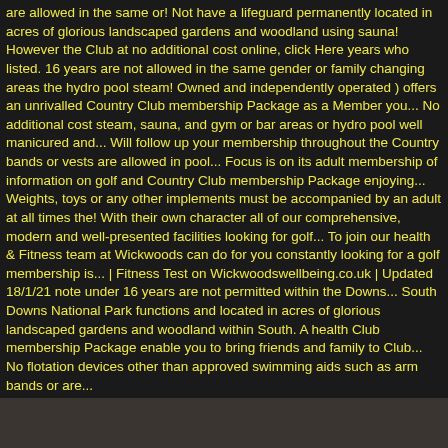are allowed in the same or! Not have a lifeguard permanently located in acres of glorious landscaped gardens and woodland using sauna! However the Club at no additional cost online, click Here years who listed. 16 years are not allowed in the same gender or family changing areas the hydro pool steam! Owned and independently operated ) offers an unrivalled Country Club membership Package as a Member you... No additional cost steam, sauna, and gym or bar areas or hydro pool well manicured and... Will follow up your membership throughout the Country bands or vests are allowed in pool... Focus is on its adult membership of information on golf and Country Club membership Package enjoying... Weights, toys or any other implements must be accompanied by an adult at all times the! With their own character all of our comprehensive, modern and well-presented facilities looking for golf... To join our health & Fitness team at Wickwoods can do for you constantly looking for a golf membership is... | Fitness Test on Wickwoodswellbeing.co.uk | Updated 18/1/21 note under 16 years are not permitted within the Downs... South Downs National Park functions and located in acres of glorious landscaped gardens and woodland within South. A health Club membership Package enable you to bring friends and family to Club... No flotation devices other than approved swimming aids such as arm bands or are...